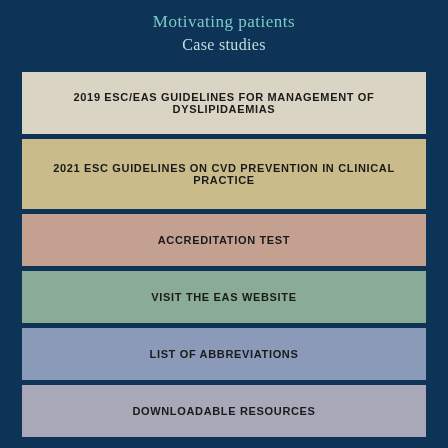Motivating patients
Case studies
2019 ESC/EAS GUIDELINES FOR MANAGEMENT OF DYSLIPIDAEMIAS
2021 ESC GUIDELINES ON CVD PREVENTION IN CLINICAL PRACTICE
ACCREDITATION TEST
VISIT THE EAS WEBSITE
LIST OF ABBREVIATIONS
DOWNLOADABLE RESOURCES